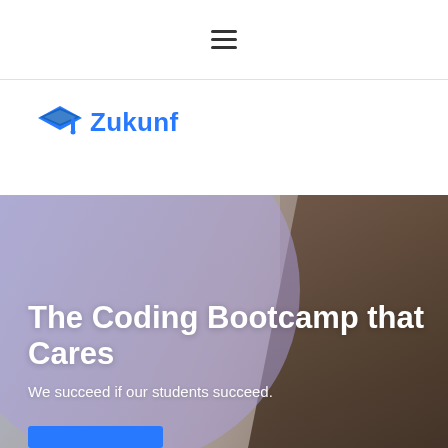≡ (hamburger menu)
[Figure (logo): Zukunf logo with a blue graduation cap icon and blue text 'Zukunf']
[Figure (photo): Hero section with background photo of students working at computers, large circular blue-purple overlay on left side, and a woman in foreground on the right looking down]
The Coding Bootcamp that Cares
We succeed if our students succeed.